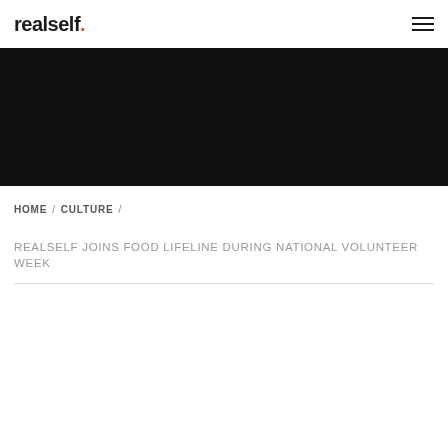realself.
[Figure (photo): Dark/black hero banner image area]
HOME / CULTURE /
REALSELF JOINS FOOD LIFELINE DURING NATIONAL VOLUNTEER WEEK